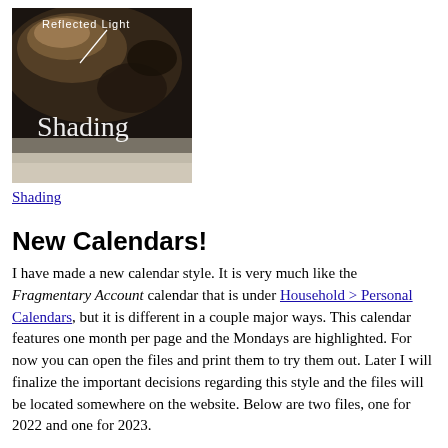[Figure (photo): A close-up photo of a dark, rough textured rock or mineral surface with white text overlay. The text reads 'Reflected Light' at the top with a line/arrow, and 'Shading' in large letters at the bottom of the image.]
Shading
New Calendars!
I have made a new calendar style. It is very much like the Fragmentary Account calendar that is under Household > Personal Calendars, but it is different in a couple major ways. This calendar features one month per page and the Mondays are highlighted. For now you can open the files and print them to try them out. Later I will finalize the important decisions regarding this style and the files will be located somewhere on the website. Below are two files, one for 2022 and one for 2023.